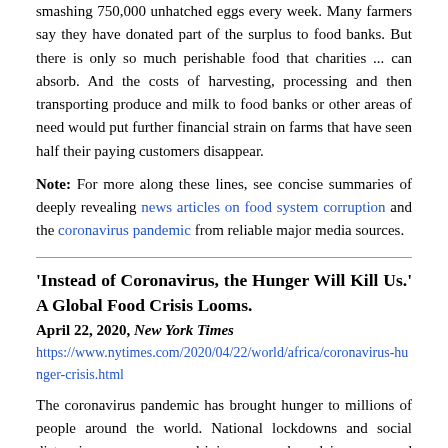smashing 750,000 unhatched eggs every week. Many farmers say they have donated part of the surplus to food banks. But there is only so much perishable food that charities ... can absorb. And the costs of harvesting, processing and then transporting produce and milk to food banks or other areas of need would put further financial strain on farms that have seen half their paying customers disappear.
Note: For more along these lines, see concise summaries of deeply revealing news articles on food system corruption and the coronavirus pandemic from reliable major media sources.
'Instead of Coronavirus, the Hunger Will Kill Us.' A Global Food Crisis Looms.
April 22, 2020, New York Times
https://www.nytimes.com/2020/04/22/world/africa/coronavirus-hunger-crisis.html
The coronavirus pandemic has brought hunger to millions of people around the world. National lockdowns and social distancing measures are driving up work and incomes, and ar...